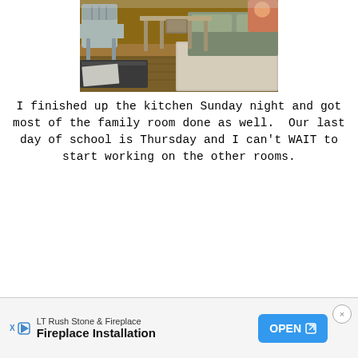[Figure (photo): Interior room photo showing a dining chair, console table with baskets, a sofa with cushions, and a rug on hardwood floors]
I finished up the kitchen Sunday night and got most of the family room done as well. Our last day of school is Thursday and I can't WAIT to start working on the other rooms.
LT Rush Stone & Fireplace Fireplace Installation OPEN ×